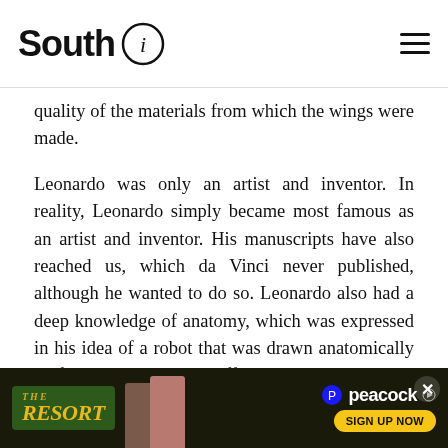South i
quality of the materials from which the wings were made.
Leonardo was only an artist and inventor. In reality, Leonardo simply became most famous as an artist and inventor. His manuscripts have also reached us, which da Vinci never published, although he wanted to do so. Leonardo also had a deep knowledge of anatomy, which was expressed in his idea of a robot that was drawn anatomically perfectly correct. It is difficult to list a complete list of his achievements, but they are not limited to drawing, invention and anatomy.
[Figure (other): Advertisement banner for 'The Resort' on Peacock streaming service with Sign Up Now button]